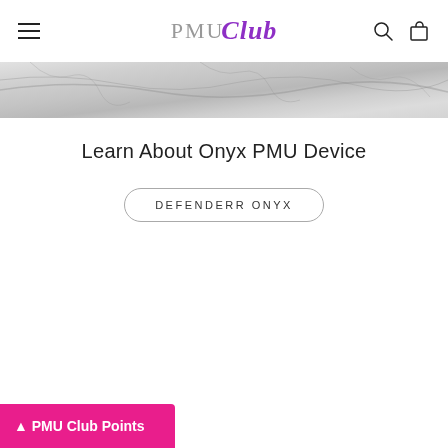PMU Club
[Figure (photo): Marble texture banner strip at top of page]
Learn About Onyx PMU Device
DEFENDERR ONYX
PMU Club Points